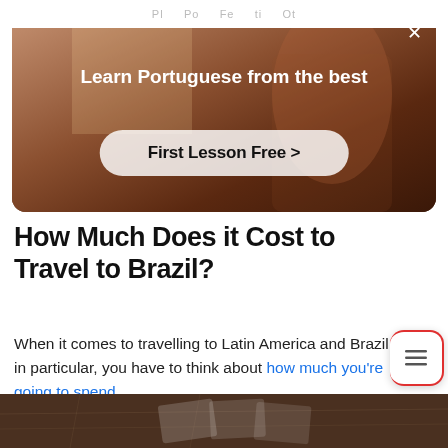Pl... Po... Fe... ti... Ot...
[Figure (screenshot): Advertisement modal overlay with a warm-toned background showing a person in a room. Contains text 'Learn Portuguese from the best' and a button 'First Lesson Free >' with a close (X) button.]
How Much Does it Cost to Travel to Brazil?
When it comes to travelling to Latin America and Brazil, in particular, you have to think about how much you're going to spend.
[Figure (photo): Bottom portion of a photo showing a map with travel documents/passport visible on top.]